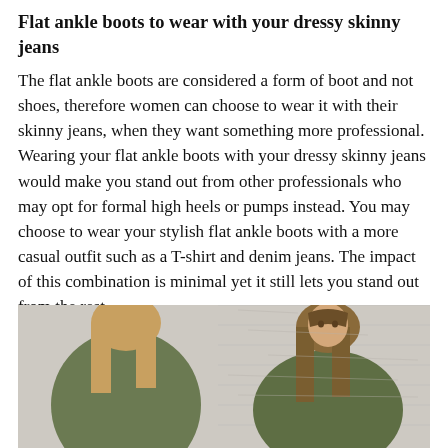Flat ankle boots to wear with your dressy skinny jeans
The flat ankle boots are considered a form of boot and not shoes, therefore women can choose to wear it with their skinny jeans, when they want something more professional. Wearing your flat ankle boots with your dressy skinny jeans would make you stand out from other professionals who may opt for formal high heels or pumps instead. You may choose to wear your stylish flat ankle boots with a more casual outfit such as a T-shirt and denim jeans. The impact of this combination is minimal yet it still lets you stand out from the rest.
[Figure (photo): Two women wearing olive/army green jackets with long hair. The left figure is shown from behind and the right figure faces the camera. Background appears to be a light stone or brick wall.]